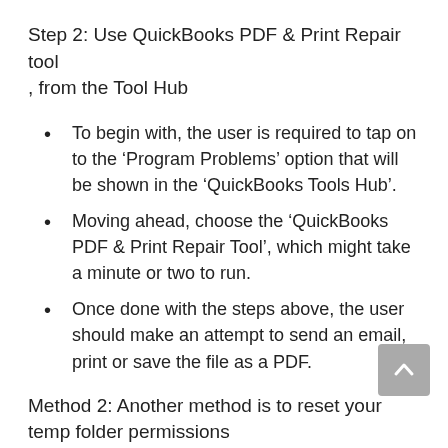Step 2: Use QuickBooks PDF & Print Repair tool , from the Tool Hub
To begin with, the user is required to tap on to the ‘Program Problems’ option that will be shown in the ‘QuickBooks Tools Hub’.
Moving ahead, choose the ‘QuickBooks PDF & Print Repair Tool’, which might take a minute or two to run.
Once done with the steps above, the user should make an attempt to send an email, print or save the file as a PDF.
Method 2: Another method is to reset your temp folder permissions
This solution majorly consists of two steps and